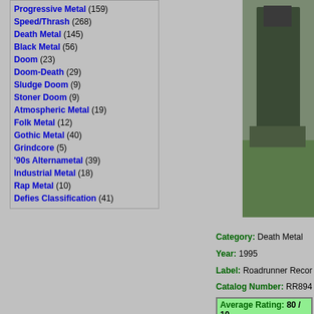Progressive Metal (159)
Speed/Thrash (268)
Death Metal (145)
Black Metal (56)
Doom (23)
Doom-Death (29)
Sludge Doom (9)
Stoner Doom (9)
Atmospheric Metal (19)
Folk Metal (12)
Gothic Metal (40)
Grindcore (5)
'90s Alternametal (39)
Industrial Metal (18)
Rap Metal (10)
Defies Classification (41)
[Figure (photo): Person standing outdoors in grass, wearing dark jacket]
[Figure (photo): Black background with album art showing text in stylized font - Seducer's Embrace]
Category: Death Metal
Year: 1995
Label: Roadrunner Records
Catalog Number: RR894
Average Rating: 80 / 10